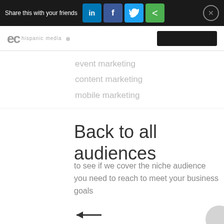Share this with your friends
[Figure (logo): EC Hispanic Media logo with navigation bar and black button]
event marketing
content marketing
mobile marketing
Back to all audiences
to see if we cover the niche audience you need to reach to meet your business goals
[Figure (illustration): Left-pointing arrow icon]